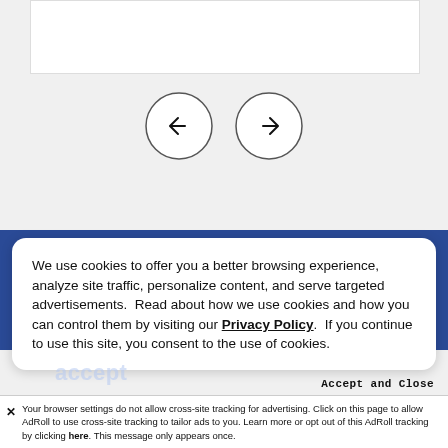[Figure (screenshot): Top white content box area on light gray background]
[Figure (screenshot): Navigation UI with left arrow circle and right arrow circle buttons on gray background]
We use cookies to offer you a better browsing experience, analyze site traffic, personalize content, and serve targeted advertisements.  Read about how we use cookies and how you can control them by visiting our Privacy Policy.  If you continue to use this site, you consent to the use of cookies.
Accept and Close
✕ Your browser settings do not allow cross-site tracking for advertising. Click on this page to allow AdRoll to use cross-site tracking to tailor ads to you. Learn more or opt out of this AdRoll tracking by clicking here. This message only appears once.